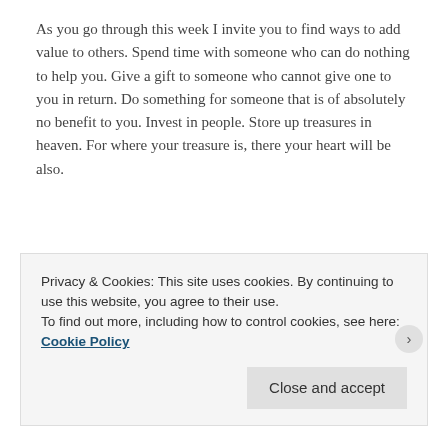As you go through this week I invite you to find ways to add value to others. Spend time with someone who can do nothing to help you. Give a gift to someone who cannot give one to you in return. Do something for someone that is of absolutely no benefit to you. Invest in people. Store up treasures in heaven. For where your treasure is, there your heart will be also.
Do not store up for yourselves treasures on earth, where moths and vermin destroy,and where thieves break in and steal.But store up for yourselves treasures in heaven,where moths and vermin do not destroy, and where thieves do not break in and
Privacy & Cookies: This site uses cookies. By continuing to use this website, you agree to their use.
To find out more, including how to control cookies, see here: Cookie Policy
Close and accept